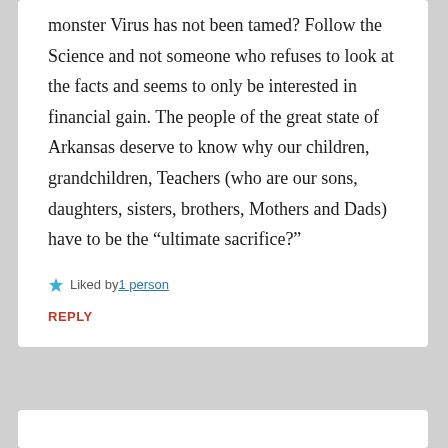monster Virus has not been tamed? Follow the Science and not someone who refuses to look at the facts and seems to only be interested in financial gain. The people of the great state of Arkansas deserve to know why our children, grandchildren, Teachers (who are our sons, daughters, sisters, brothers, Mothers and Dads) have to be the “ultimate sacrifice?”
Liked by 1 person
REPLY